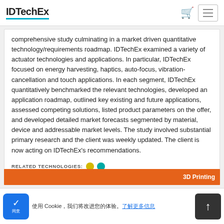IDTechEx
comprehensive study culminating in a market driven quantitative technology/requirements roadmap. IDTechEx examined a variety of actuator technologies and applications. In particular, IDTechEx focused on energy harvesting, haptics, auto-focus, vibration-cancellation and touch applications. In each segment, IDTechEx quantitatively benchmarked the relevant technologies, developed an application roadmap, outlined key existing and future applications, assessed competing solutions, listed product parameters on the offer, and developed detailed market forecasts segmented by material, device and addressable market levels. The study involved substantial primary research and the client was weekly updated. The client is now acting on IDTechEx's recommendations.
RELATED TECHNOLOGIES:
3D Printing
Cookie notice text with link